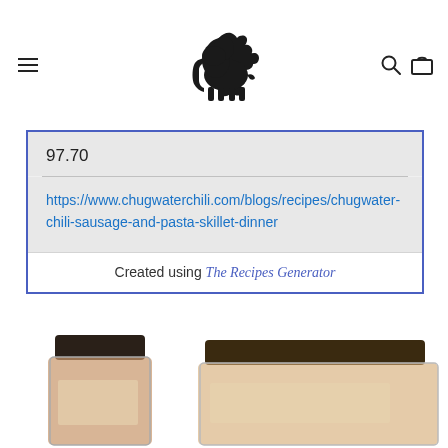[Navigation bar with hamburger menu, bison logo, search and cart icons]
97.70
https://www.chugwaterchili.com/blogs/recipes/chugwater-chili-sausage-and-pasta-skillet-dinner
Created using The Recipes Generator
[Figure (photo): Product photo of spice jars at bottom of page]